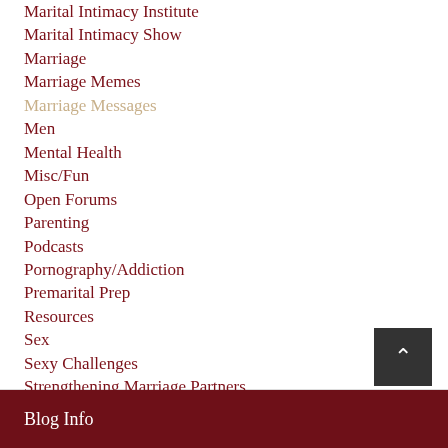Marital Intimacy Institute
Marital Intimacy Show
Marriage
Marriage Memes
Marriage Messages
Men
Mental Health
Misc/Fun
Open Forums
Parenting
Podcasts
Pornography/Addiction
Premarital Prep
Resources
Sex
Sexy Challenges
Strengthening Marriage Partners
Success Stories
TV-Radio Interviews
Uncategorized
Valentine's
Video
Welcome
Why I Love My Husband
Women
Blog Info